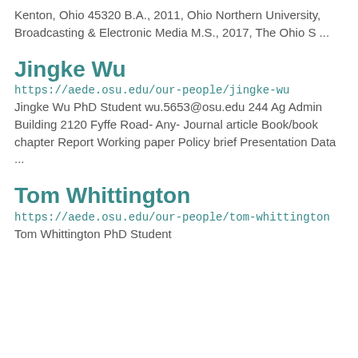Kenton, Ohio 45320 B.A., 2011, Ohio Northern University, Broadcasting & Electronic Media M.S., 2017, The Ohio S ...
Jingke Wu
https://aede.osu.edu/our-people/jingke-wu
Jingke Wu PhD Student wu.5653@osu.edu 244 Ag Admin Building 2120 Fyffe Road- Any- Journal article Book/book chapter Report Working paper Policy brief Presentation Data ...
Tom Whittington
https://aede.osu.edu/our-people/tom-whittington
Tom Whittington PhD Student